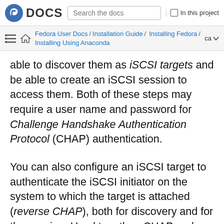Fedora DOCS | Search the docs | In this project
Fedora User Docs / Installation Guide / Installing Fedora / Installing Using Anaconda  ca
able to discover them as iSCSI targets and be able to create an iSCSI session to access them. Both of these steps may require a user name and password for Challenge Handshake Authentication Protocol (CHAP) authentication.
You can also configure an iSCSI target to authenticate the iSCSI initiator on the system to which the target is attached (reverse CHAP), both for discovery and for the session. Used together, CHAP and reverse CHAP are called mutual CHAP or two-way CHAP. Mutual CHAP provides the greatest level of security for iSCSI connections, especially if...